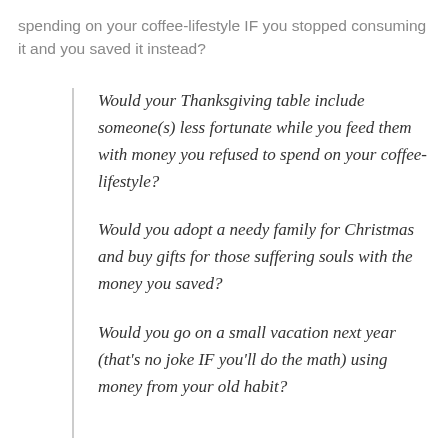spending on your coffee-lifestyle IF you stopped consuming it and you saved it instead?
Would your Thanksgiving table include someone(s) less fortunate while you feed them with money you refused to spend on your coffee-lifestyle?
Would you adopt a needy family for Christmas and buy gifts for those suffering souls with the money you saved?
Would you go on a small vacation next year (that's no joke IF you'll do the math) using money from your old habit?